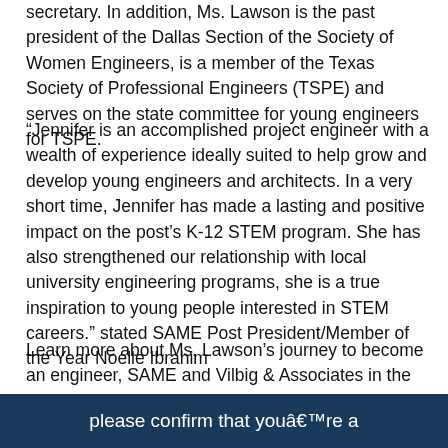secretary. In addition, Ms. Lawson is the past president of the Dallas Section of the Society of Women Engineers, is a member of the Texas Society of Professional Engineers (TSPE) and serves on the state committee for young engineers for TSPE.
“Jennifer is an accomplished project engineer with a wealth of experience ideally suited to help grow and develop young engineers and architects. In a very short time, Jennifer has made a lasting and positive impact on the post’s K-12 STEM program. She has also strengthened our relationship with local university engineering programs, she is a true inspiration to young people interested in STEM careers.” stated SAME Post President/Member of the Year Noelle Ibrahim
Learn more about Ms. Lawson’s journey to become an engineer, SAME and Vilbig & Associates in the video.
please confirm that youâ€™re a